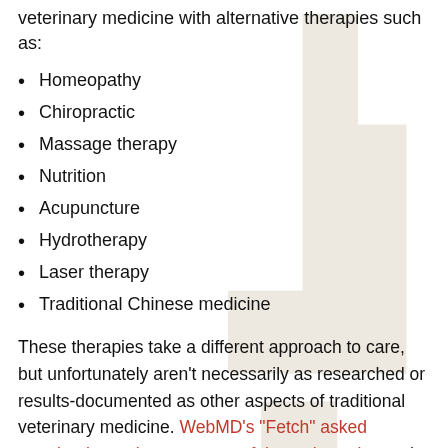veterinary medicine with alternative therapies such as:
Homeopathy
Chiropractic
Massage therapy
Nutrition
Acupuncture
Hydrotherapy
Laser therapy
Traditional Chinese medicine
These therapies take a different approach to care, but unfortunately aren't necessarily as researched or results-documented as other aspects of traditional veterinary medicine. WebMD's “Fetch” asked veterinarians who use some of these therapies and they tend to use them when conventional therapies have failed, for example, when treating dogs for